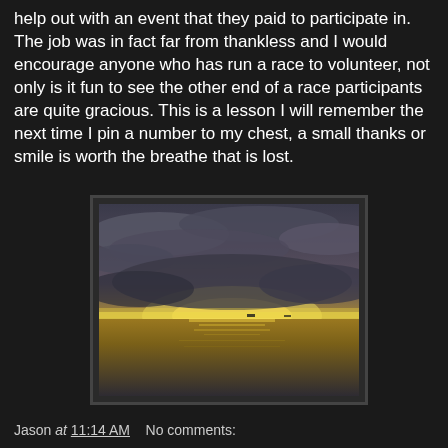help out with an event that they paid to participate in. The job was in fact far from thankless and I would encourage anyone who has run a race to volunteer, not only is it fun to see the other end of a race participants are quite gracious. This is a lesson I will remember the next time I pin a number to my chest, a small thanks or smile is worth the breathe that is lost.
[Figure (photo): A sunset over the ocean with dramatic clouds and golden light reflecting on calm water. Two small ships visible on the horizon.]
Jason at 11:14 AM    No comments: